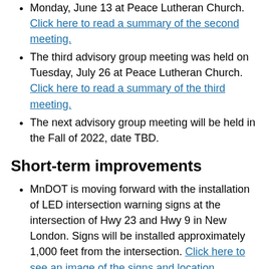Monday, June 13 at Peace Lutheran Church. Click here to read a summary of the second meeting.
The third advisory group meeting was held on Tuesday, July 26 at Peace Lutheran Church. Click here to read a summary of the third meeting.
The next advisory group meeting will be held in the Fall of 2022, date TBD.
Short-term improvements
MnDOT is moving forward with the installation of LED intersection warning signs at the intersection of Hwy 23 and Hwy 9 in New London. Signs will be installed approximately 1,000 feet from the intersection. Click here to see an image of the signs and location.
The warning signs will alert drivers of traffic approaching the intersection.
The warning signs are a short-term improvement